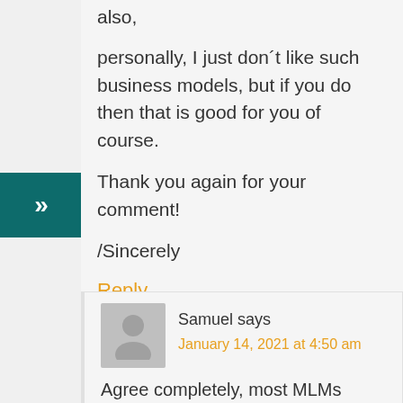also,
personally, I just don´t like such business models, but if you do then that is good for you of course.
Thank you again for your comment!
/Sincerely
Reply
Samuel says
January 14, 2021 at 4:50 am
Agree completely, most MLMs